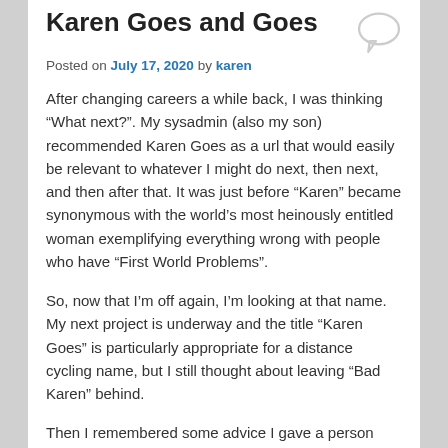Karen Goes and Goes
Posted on July 17, 2020 by karen
After changing careers a while back, I was thinking “What next?”. My sysadmin (also my son) recommended Karen Goes as a url that would easily be relevant to whatever I might do next, then next, and then after that. It was just before “Karen” became synonymous with the world’s most heinously entitled woman exemplifying everything wrong with people who have “First World Problems”.
So, now that I’m off again, I’m looking at that name. My next project is underway and the title “Karen Goes” is particularly appropriate for a distance cycling name, but I still thought about leaving “Bad Karen” behind.
Then I remembered some advice I gave a person who thought about changing their name legally to keep from being confused with another person. I said make your name who YOU are. I thought about my father’s favorite Jim Croce song too. I had other favorites, but his liking